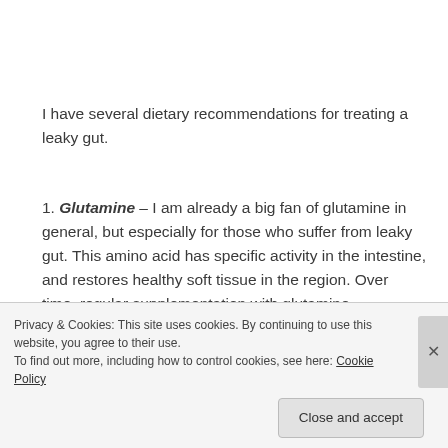I have several dietary recommendations for treating a leaky gut.
1. Glutamine – I am already a big fan of glutamine in general, but especially for those who suffer from leaky gut. This amino acid has specific activity in the intestine, and restores healthy soft tissue in the region. Over time, regular supplementation with glutamine has a protective effect against intestinal disease. I tend
Privacy & Cookies: This site uses cookies. By continuing to use this website, you agree to their use.
To find out more, including how to control cookies, see here: Cookie Policy